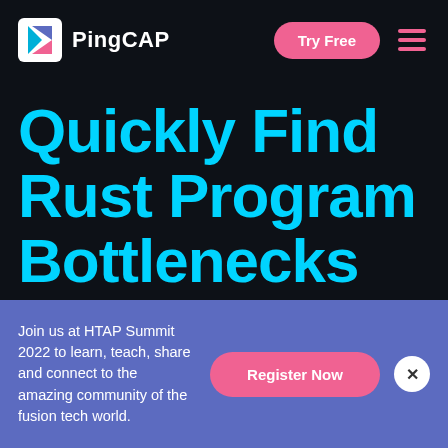PingCAP | Try Free
Quickly Find Rust Program Bottlenecks Online Using a
Join us at HTAP Summit 2022 to learn, teach, share and connect to the amazing community of the fusion tech world.